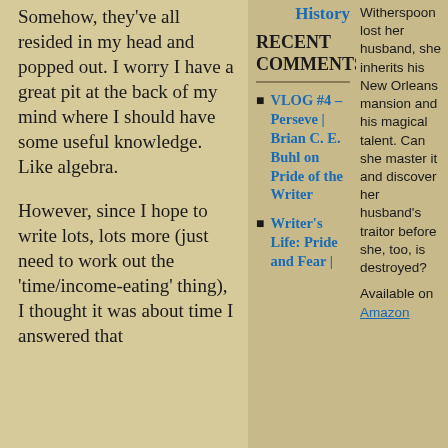Somehow, they've all resided in my head and popped out. I worry I have a great pit at the back of my mind where I should have some useful knowledge. Like algebra.
However, since I hope to write lots, lots more (just need to work out the 'time/income-eating' thing), I thought it was about time I answered that
History
RECENT COMMENTS
VLOG #4 – Perseve | Brian C. E. Buhl on Pride of the Writer
Writer's Life: Pride and Fear |
Witherspoon lost her husband, she inherits his New Orleans mansion and his magical talent. Can she master it and discover her husband's traitor before she, too, is destroyed?
Available on Amazon